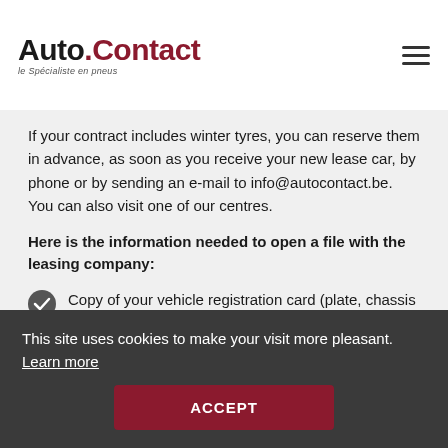[Figure (logo): Auto.Contact logo with tagline 'le Spécialiste en pneus']
If your contract includes winter tyres, you can reserve them in advance, as soon as you receive your new lease car, by phone or by sending an e-mail to info@autocontact.be. You can also visit one of our centres.
Here is the information needed to open a file with the leasing company:
Copy of your vehicle registration card (plate, chassis number, etc.)
Size of your summer tyres
Vehicle mileage
This site uses cookies to make your visit more pleasant. Learn more
ACCEPT